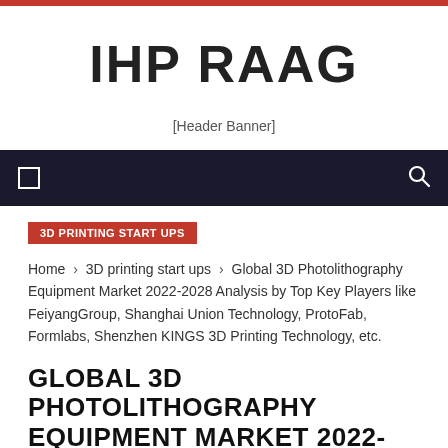IHP RAAG
[Figure (other): Header Banner image placeholder]
3D PRINTING START UPS
Home › 3D printing start ups › Global 3D Photolithography Equipment Market 2022-2028 Analysis by Top Key Players like FeiyangGroup, Shanghai Union Technology, ProtoFab, Formlabs, Shenzhen KINGS 3D Printing Technology, etc.
GLOBAL 3D PHOTOLITHOGRAPHY EQUIPMENT MARKET 2022-2028